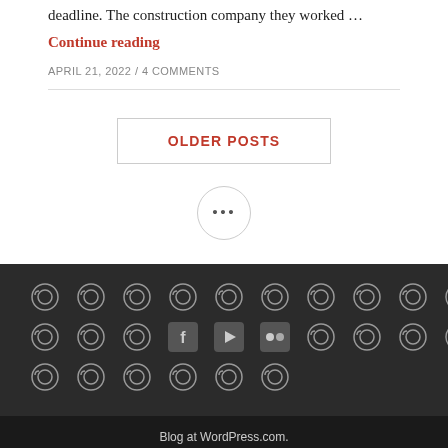deadline. The construction company they worked …
Continue reading
APRIL 21, 2022 / 4 COMMENTS
OLDER POSTS
•••
[Figure (illustration): Dark footer bar with rows of circular social/share icons in grey, with Facebook, YouTube, and Flickr icons in the middle row]
Blog at WordPress.com.